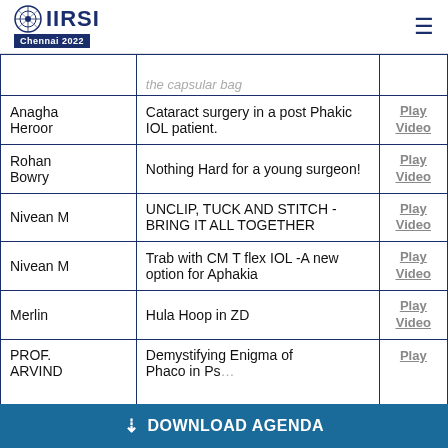IIRSI Chennai 2022
| Name | Title | Action |
| --- | --- | --- |
|  | the capsular bag | Play Video |
| Anagha Heroor | Cataract surgery in a post Phakic IOL patient. | Play Video |
| Rohan Bowry | Nothing Hard for a young surgeon! | Play Video |
| Nivean M | UNCLIP, TUCK AND STITCH - BRING IT ALL TOGETHER | Play Video |
| Nivean M | Trab with CM T flex IOL -A new option for Aphakia | Play Video |
| Merlin | Hula Hoop in ZD | Play Video |
| PROF. ARVIND | Demystifying Enigma of Phaco in Ps… | Play |
DOWNLOAD AGENDA